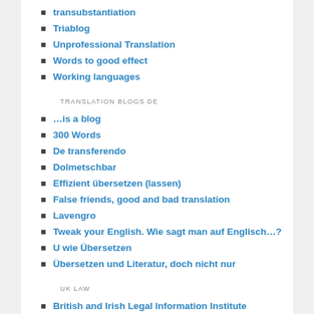transubstantiation
Triablog
Unprofessional Translation
Words to good effect
Working languages
TRANSLATION BLOGS DE
…is a blog
300 Words
De transferendo
Dolmetschbar
Effizient übersetzen (lassen)
False friends, good and bad translation
Lavengro
Tweak your English. Wie sagt man auf Englisch…?
U wie Übersetzen
Übersetzen und Literatur, doch nicht nur
UK LAW
British and Irish Legal Information Institute